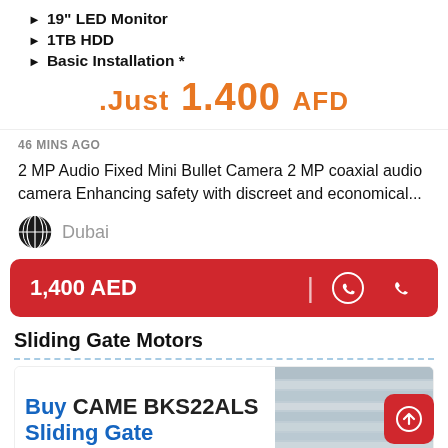19" LED Monitor
1TB HDD
Basic Installation *
.Just 1.400 AFD
46 MINS AGO
2 MP Audio Fixed Mini Bullet Camera 2 MP coaxial audio camera Enhancing safety with discreet and economical...
Dubai
1,400 AED
Sliding Gate Motors
[Figure (screenshot): Advertisement banner for Buy CAME BKS22ALS Sliding Gate with image of gate/door in background]